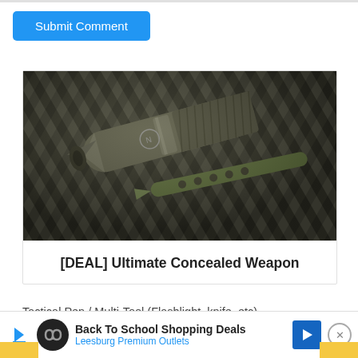[Figure (other): Blue 'Submit Comment' button]
[Figure (photo): Close-up photo of a tactical pen and multi-tool on a woven surface, shown in dark green/grey tones]
[DEAL] Ultimate Concealed Weapon
Tactical Pen / Multi-Tool (Flashlight, knife, etc)
[Figure (other): Advertisement banner: Back To School Shopping Deals - Leesburg Premium Outlets]